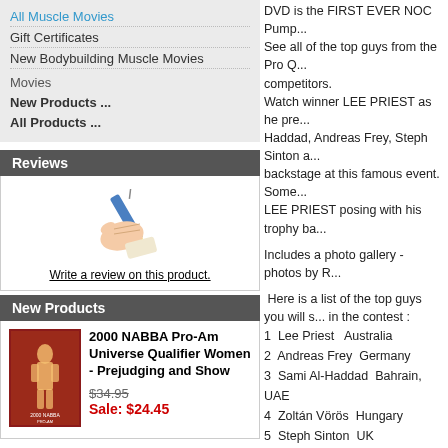All Muscle Movies
Gift Certificates
New Bodybuilding Muscle Movies
New Products ...
All Products ...
Reviews
[Figure (illustration): Hand holding a pen/pencil illustration]
Write a review on this product.
New Products
[Figure (photo): 2000 NABBA Pro-Am Universe Qualifier Women - Prejudging and Show DVD cover]
2000 NABBA Pro-Am Universe Qualifier Women - Prejudging and Show
$34.95
Sale: $24.45
DVD is the FIRST EVER NOC Pump...
See all of the top guys from the Pro Q... competitors.
Watch winner LEE PRIEST as he pre... Haddad, Andreas Frey, Steph Sinton a... backstage at this famous event. Some... LEE PRIEST posing with his trophy ba...
Includes a photo gallery - photos by R...
Here is a list of the top guys you will s... in the contest :
1  Lee Priest   Australia
2  Andreas Frey  Germany
3  Sami Al-Haddad  Bahrain, UAE
4  Zoltán Vörös  Hungary
5  Steph Sinton  UK
6  Valentin Jabes  France
7  Sean Allan  USA
8  Geoff Hargreaves  UK
9  Jason Palafox  USA
10  Tom Jimenez  USA
11  Eduard Duque  Venezuela
12  Per Juhl  Sweden
13  Raphael Lapoirie  France
14  Danny Rapposelli  USA
15  Liam Stewart  Rep. Ireland
16  Troy Moore  USA